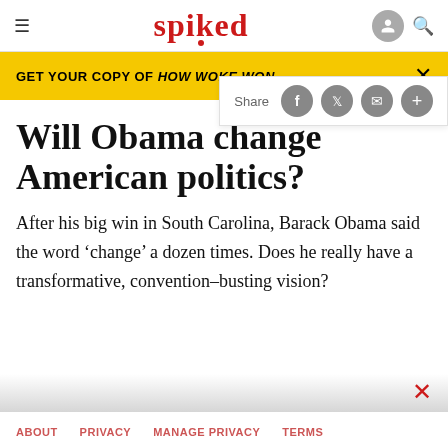spiked
GET YOUR COPY OF HOW WOKE WON
Will Obama change American politics?
After his big win in South Carolina, Barack Obama said the word ‘change’ a dozen times. Does he really have a transformative, convention-busting vision?
ABOUT   PRIVACY   MANAGE PRIVACY   TERMS